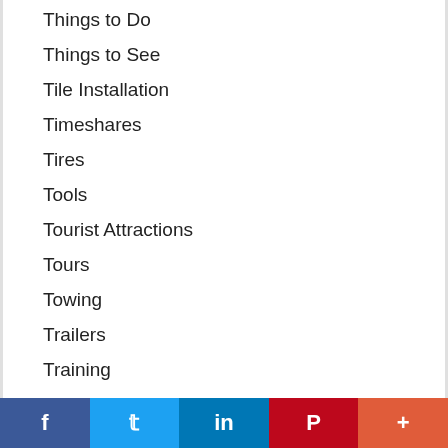Things to Do
Things to See
Tile Installation
Timeshares
Tires
Tools
Tourist Attractions
Tours
Towing
Trailers
Training
Trash Removal
Travel
Travel Agents
f  t  in  P  +